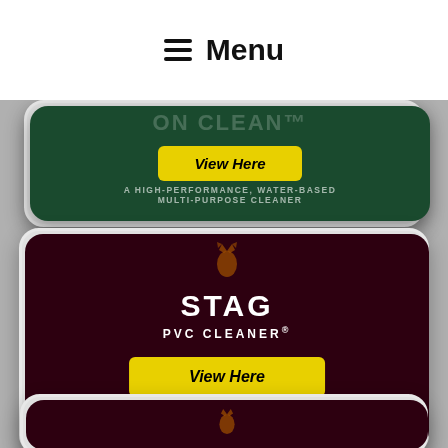Menu
[Figure (screenshot): Partially visible green product card with 'View Here' yellow button and text 'A HIGH-PERFORMANCE, WATER-BASED MULTI-PURPOSE CLEANER']
[Figure (screenshot): STAG PVC CLEANER product card on dark maroon background with stag deer logo, brand name STAG, subtitle PVC CLEANER with registered trademark, yellow 'View Here' button, and large background text PVC CLEANER]
[Figure (screenshot): Partially visible third product card at bottom of page, dark maroon background with stag deer logo partially shown]